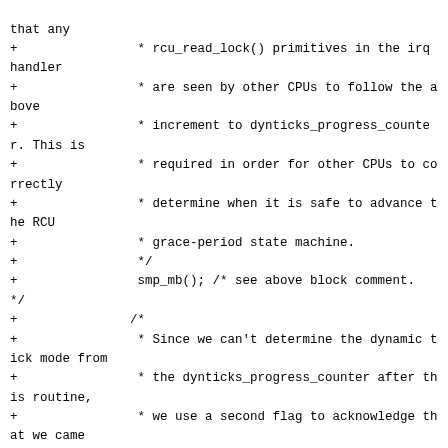that any
+                * rcu_read_lock() primitives in the irq handler
+                * are seen by other CPUs to follow the above
+                * increment to dynticks_progress_counter. This is
+                * required in order for other CPUs to correctly
+                * determine when it is safe to advance the RCU
+                * grace-period state machine.
+                */
+                smp_mb(); /* see above block comment.
 */
+               /*
+                * Since we can't determine the dynamic tick mode from
+                * the dynticks_progress_counter after this routine,
+                * we use a second flag to acknowledge that we came
+                * from an idle state with ticks stopped.
+                */
+               per_cpu(rcu_update_flag, cpu)++;
+               /*
+                * If we take an NMI/SMI now, they will also increment
+                * the rcu update flag, and will not